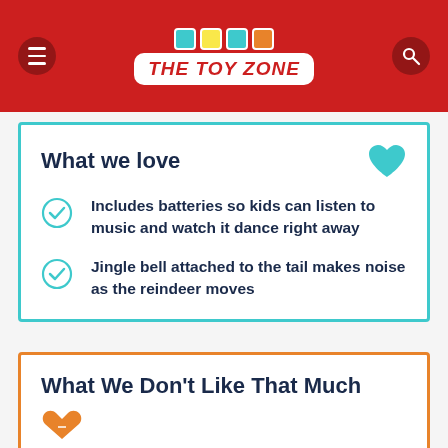The Toy Zone
What we love
Includes batteries so kids can listen to music and watch it dance right away
Jingle bell attached to the tail makes noise as the reindeer moves
What We Don't Like That Much